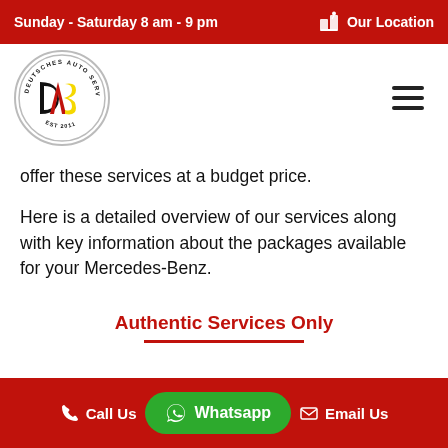Sunday - Saturday 8 am - 9 pm   Our Location
[Figure (logo): Deutsches Auto Service Center circular logo with DAS letters in black, red, and yellow on white background]
offer these services at a budget price.
Here is a detailed overview of our services along with key information about the packages available for your Mercedes-Benz.
Authentic Services Only
Call Us   Whatsapp   Email Us